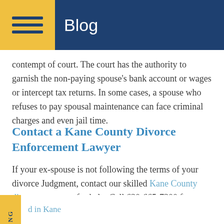Blog
contempt of court. The court has the authority to garnish the non-paying spouse's bank account or wages or intercept tax returns. In some cases, a spouse who refuses to pay spousal maintenance can face criminal charges and even jail time.
Contact a Kane County Divorce Enforcement Lawyer
If your ex-spouse is not following the terms of your divorce Judgment, contact our skilled Kane County divorce attorneys for help. Call 630-665-7300 for a confidential consultation.
Source:
https://www.ilga.gov/legislation/ilcs/fulltext.asp?DocName=073500050K2-1203
d in Kane